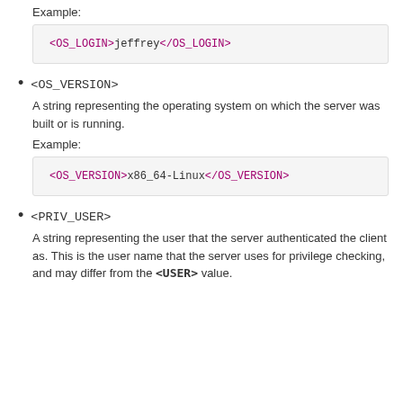Example:
<OS_LOGIN>jeffrey</OS_LOGIN>
<OS_VERSION>
A string representing the operating system on which the server was built or is running.
Example:
<OS_VERSION>x86_64-Linux</OS_VERSION>
<PRIV_USER>
A string representing the user that the server authenticated the client as. This is the user name that the server uses for privilege checking, and may differ from the <USER> value.